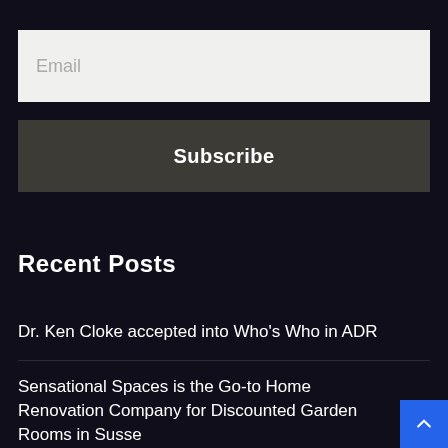Email
Subscribe
Recent Posts
Dr. Ken Cloke accepted into Who's Who in ADR
Sensational Spaces is the Go-to Home Renovation Company for Discounted Garden Rooms in Susse